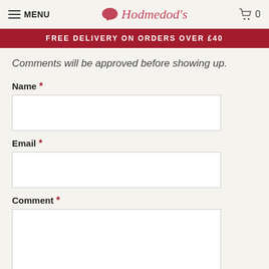MENU | Hodmedod's | 0
FREE DELIVERY ON ORDERS OVER £40
Comments will be approved before showing up.
Name *
Email *
Comment *